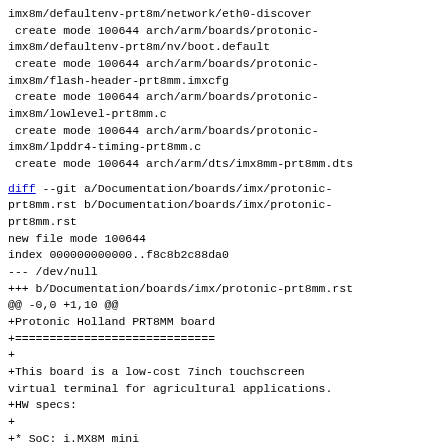imx8m/defaultenv-prt8m/network/eth0-discover
 create mode 100644 arch/arm/boards/protonic-imx8m/defaultenv-prt8m/nv/boot.default
 create mode 100644 arch/arm/boards/protonic-imx8m/flash-header-prt8mm.imxcfg
 create mode 100644 arch/arm/boards/protonic-imx8m/lowlevel-prt8mm.c
 create mode 100644 arch/arm/boards/protonic-imx8m/lpddr4-timing-prt8mm.c
 create mode 100644 arch/arm/dts/imx8mm-prt8mm.dts
diff --git a/Documentation/boards/imx/protonic-prt8mm.rst b/Documentation/boards/imx/protonic-prt8mm.rst
new file mode 100644
index 000000000000..f8c8b2c88da0
--- /dev/null
+++ b/Documentation/boards/imx/protonic-prt8mm.rst
@@ -0,0 +1,10 @@
+Protonic Holland PRT8MM board
+=============================
+
+This board is a low-cost 7inch touchscreen virtual terminal for agricultural applications.
+HW specs:
+
+* SoC: i.MX8M mini
+* RAM: 1GiB LPDDR4
+* eMMC: 16GiB
+* Display: 7inch 800x480 with capacitive